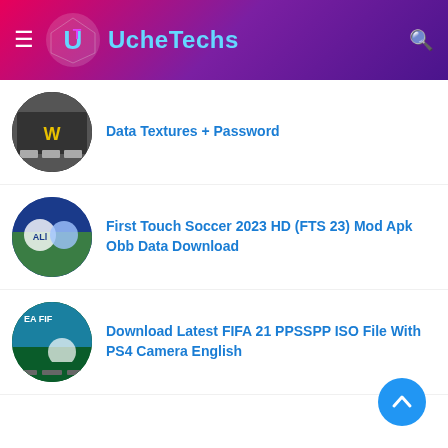UcheTechs
Data Textures + Password
First Touch Soccer 2023 HD (FTS 23) Mod Apk Obb Data Download
Download Latest FIFA 21 PPSSPP ISO File With PS4 Camera English